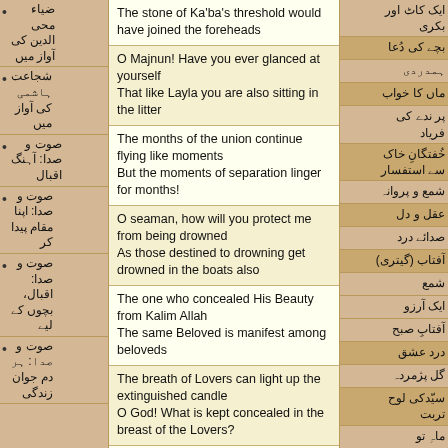ضیاء محی الدین کی آواز میں
شجاعت ہاشمی کی آواز میں
صوت و صدا: آہنگ اقبال
صوت و صدا: اپنا مقام پیدا کر
صوت و صدا: اقبال، بچوں کے لیے
صوت و صدا: ہر دم جوان زندگی
The stone of Ka'ba's threshold would have joined the foreheads
O Majnun! Have you ever glanced at yourself
That like Layla you are also sitting in the litter
The months of the union continue flying like moments
But the moments of separation linger for months!
O seaman, how will you protect me from being drowned
As those destined to drowning get drowned in the boats also
The one who concealed His Beauty from Kalim Allah
The same Beloved is manifest among beloveds
The breath of Lovers can light up the extinguished candle
O God! What is kept concealed in the breast of the Lovers?
Serve the fakirs if you have the longing for Love
ایک کاٹ اور بکری
بچے کی دُعا
ہمدردی
ماں کا خواب
پر ندے کی فریاد
خُفتگانِ خاک سے استفسار
شمع و پروانہ
عقل و دل
صدائے درد
آفتاب (گیتری)
شمع
ایک آرزو
آفتابِ صبح
درد عشق
گل پژمردہ
سیّدکی لوح تربت
ماہِ تو
انسان اور بزم